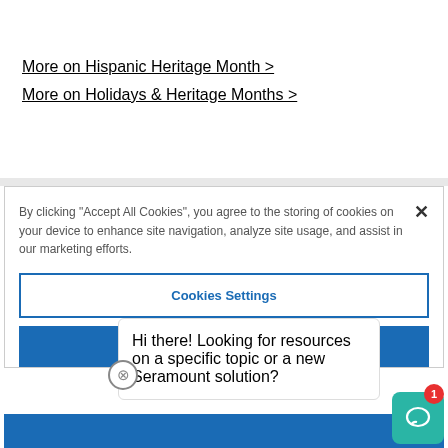More on Hispanic Heritage Month >
More on Holidays & Heritage Months >
By clicking "Accept All Cookies", you agree to the storing of cookies on your device to enhance site navigation, analyze site usage, and assist in our marketing efforts.
Cookies Settings
Accept All
Hi there! Looking for resources on a specific topic or a new Seramount solution?